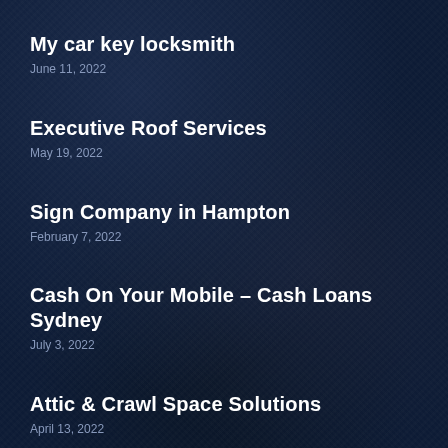My car key locksmith
June 11, 2022
Executive Roof Services
May 19, 2022
Sign Company in Hampton
February 7, 2022
Cash On Your Mobile – Cash Loans Sydney
July 3, 2022
Attic & Crawl Space Solutions
April 13, 2022